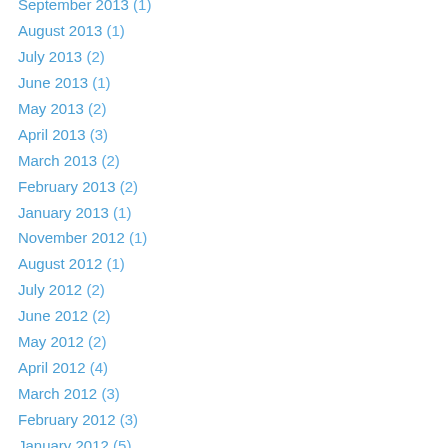September 2013 (1)
August 2013 (1)
July 2013 (2)
June 2013 (1)
May 2013 (2)
April 2013 (3)
March 2013 (2)
February 2013 (2)
January 2013 (1)
November 2012 (1)
August 2012 (1)
July 2012 (2)
June 2012 (2)
May 2012 (2)
April 2012 (4)
March 2012 (3)
February 2012 (3)
January 2012 (5)
December 2011 (4)
November 2011 (3)